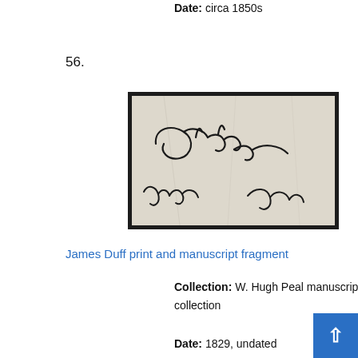Date: circa 1850s
56.
[Figure (photo): A manuscript fragment showing handwritten cursive signatures/text in black ink on aged cream/off-white paper, mounted in a dark black frame.]
James Duff print and manuscript fragment
Collection: W. Hugh Peal manuscript collection
Date: 1829, undated